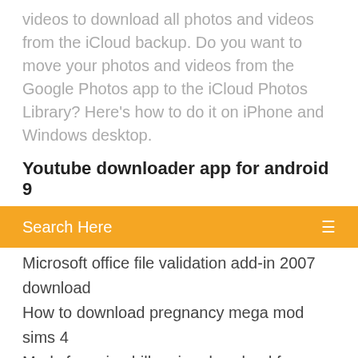videos to download all photos and videos from the iCloud backup. Do you want to move your photos and videos from the Google Photos app to the iCloud Photos Library? Here's how to do it on iPhone and Windows desktop.
Youtube downloader app for android 9
[Figure (screenshot): Orange search bar with 'Search Here' placeholder text and a menu icon on the right]
Microsoft office file validation add-in 2007 download
How to download pregnancy mega mod sims 4
Mods for exion hill racing download free
The forge minecraft download
Download cricut maker driver windows 7
Cosmos and psyche pdf free download
Betternet latest version download
Download free pdf invoice
Free download driver epson prefection 4180
Where to download ebooks for free .io
Showbox 4.73 for android download